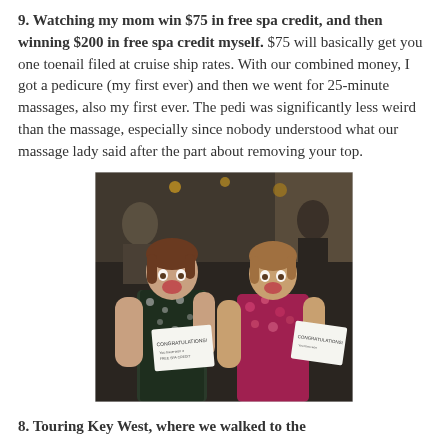9. Watching my mom win $75 in free spa credit, and then winning $200 in free spa credit myself. $75 will basically get you one toenail filed at cruise ship rates. With our combined money, I got a pedicure (my first ever) and then we went for 25-minute massages, also my first ever. The pedi was significantly less weird than the massage, especially since nobody understood what our massage lady said after the part about removing your top.
[Figure (photo): Two women smiling and holding congratulations cards/envelopes, excited expressions, inside what appears to be a cruise ship]
8. Touring Key West, where we walked to the